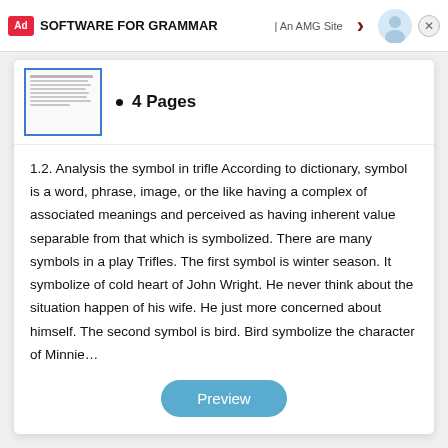SOFTWARE FOR GRAMMAR | An AMG Site
[Figure (screenshot): Thumbnail preview of a document page with horizontal lines of text]
4 Pages
1.2. Analysis the symbol in trifle According to dictionary, symbol is a word, phrase, image, or the like having a complex of associated meanings and perceived as having inherent value separable from that which is symbolized. There are many symbols in a play Trifles. The first symbol is winter season. It symbolize of cold heart of John Wright. He never think about the situation happen of his wife. He just more concerned about himself. The second symbol is bird. Bird symbolize the character of Minnie…
Preview